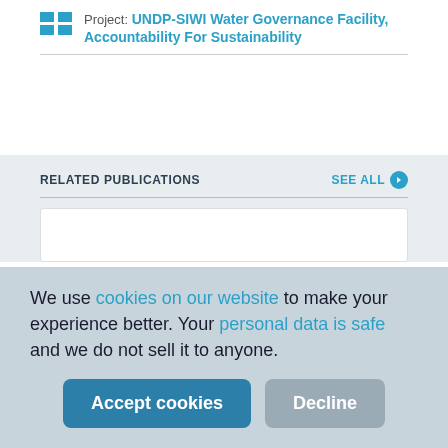Project: UNDP-SIWI Water Governance Facility, Accountability For Sustainability
RELATED PUBLICATIONS
SEE ALL
We use cookies on our website to make your experience better. Your personal data is safe and we do not sell it to anyone.
Accept cookies
Decline